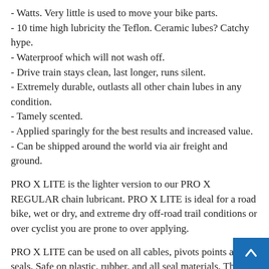- Watts. Very little is used to move your bike parts.
- 10 time high lubricity the Teflon. Ceramic lubes? Catchy hype.
- Waterproof which will not wash off.
- Drive train stays clean, last longer, runs silent.
- Extremely durable, outlasts all other chain lubes in any condition.
- Tamely scented.
- Applied sparingly for the best results and increased value.
- Can be shipped around the world via air freight and ground.
PRO X LITE is the lighter version to our PRO X REGULAR chain lubricant. PRO X LITE is ideal for a road bike, wet or dry, and extreme dry off-road trail conditions or over cyclist you are prone to over applying.
PRO X LITE can be used on all cables, pivots points and seals. Safe on plastic, rubber, and all seal materials. The product is designed to not harm your components. Our products are engineered to perform with minimal "carbon footprint" by